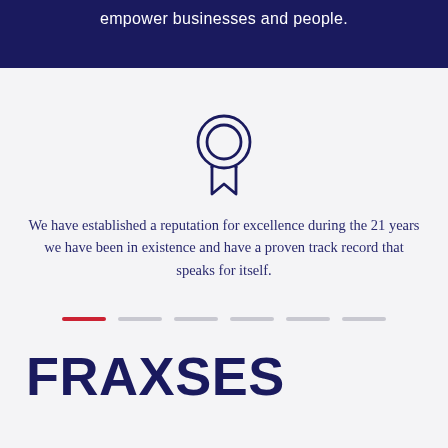empower businesses and people.
[Figure (illustration): Award medal / badge icon outline in dark navy blue, consisting of a circle with inner circle and ribbon/bookmark tails below]
We have established a reputation for excellence during the 21 years we have been in existence and have a proven track record that speaks for itself.
[Figure (infographic): Pagination indicator row: one active red bar and five inactive grey bars]
FRAXSES